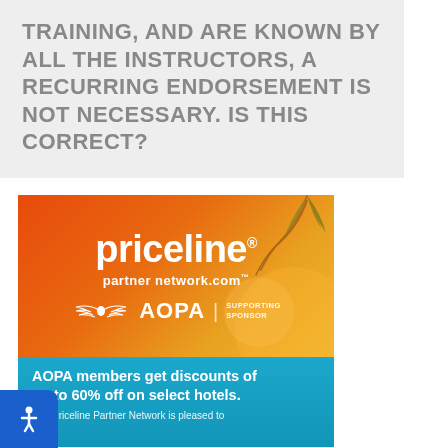TRAINING, AND ARE KNOWN BY ALL THE INSTRUCTORS, A RECURRING ENDORSEMENT IS NOT NECESSARY. IS THIS CORRECT?
[Figure (illustration): Priceline Partner Network advertisement banner. Top half has orange gradient background with palm leaves, Priceline logo, 'partner network.com' text, AOPA wings logo and 'SUPPORTING SPONSOR' label. Bottom half has blue gradient background with text 'AOPA members get discounts of up to 60% off on select hotels. The Priceline Partner Network is pleased to...']